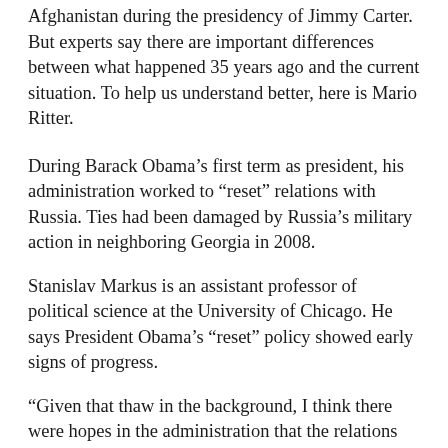Afghanistan during the presidency of Jimmy Carter. But experts say there are important differences between what happened 35 years ago and the current situation. To help us understand better, here is Mario Ritter.
During Barack Obama’s first term as president, his administration worked to “reset” relations with Russia. Ties had been damaged by Russia’s military action in neighboring Georgia in 2008.
Stanislav Markus is an assistant professor of political science at the University of Chicago. He says President Obama’s “reset” policy showed early signs of progress.
“Given that thaw in the background, I think there were hopes in the administration that the relations with Russia could get back on a more positive track.”